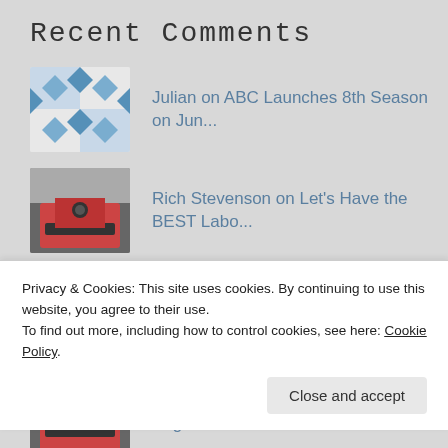Recent Comments
Julian on ABC Launches 8th Season on Jun...
Rich Stevenson on Let's Have the BEST Labo...
Ruth Spence on Let's Have the BEST Labo...
Rich Stevenson on ABC Set to Begin 7th Season Ju...
Julian Hauck on ABC Set to Begin 7th Season Ju
Privacy & Cookies: This site uses cookies. By continuing to use this website, you agree to their use.
To find out more, including how to control cookies, see here: Cookie Policy.